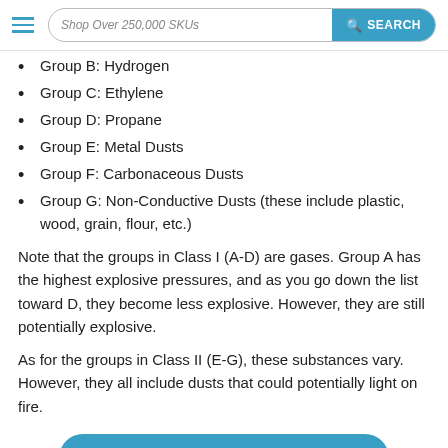Shop Over 250,000 SKUs | SEARCH
Group B: Hydrogen
Group C: Ethylene
Group D: Propane
Group E: Metal Dusts
Group F: Carbonaceous Dusts
Group G: Non-Conductive Dusts (these include plastic, wood, grain, flour, etc.)
Note that the groups in Class I (A-D) are gases. Group A has the highest explosive pressures, and as you go down the list toward D, they become less explosive. However, they are still potentially explosive.
As for the groups in Class II (E-G), these substances vary. However, they all include dusts that could potentially light on fire.
Once ... classes, and groups, you will know which HazLoc safe lighting